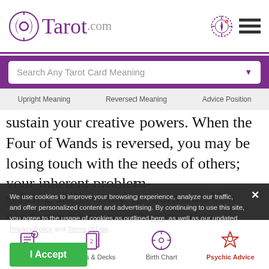Tarot.com
Search Any Tarot Card Meaning
Upright Meaning   Reversed Meaning   Advice Position
sustain your creative powers. When the Four of Wands is reversed, you may be losing touch with the needs of others; your inherent problem-solving skills could go dormant. You need standin many other creative individuals of alike mind. Consciously seek it out because it's not going to toy...
We use cookies to improve your browsing experience, analyze our traffic, and offer personalized content and advertising. By continuing to use this site, you agree to the usage of cookies as outlined here, as well as our updated Privacy Policy and Terms of Use.
I Accept
Readings   Cards & Decks   Birth Chart   Psychic Advice